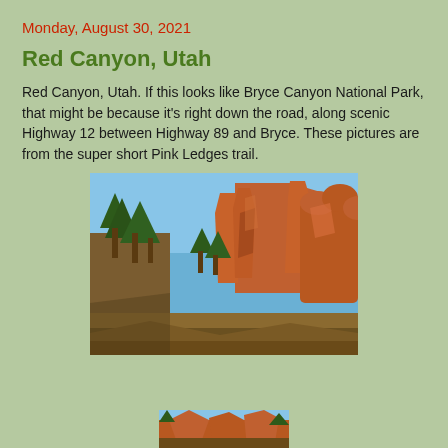Monday, August 30, 2021
Red Canyon, Utah
Red Canyon, Utah.  If this looks like Bryce Canyon National Park, that might be because it's right down the road, along scenic Highway 12 between Highway 89 and Bryce.  These pictures are from the super short Pink Ledges trail.
[Figure (photo): Photo of Red Canyon Utah showing tall red rock hoodoos and spires with green pine trees in the foreground against a blue sky]
[Figure (photo): Partial photo at bottom of page showing another view of Red Canyon Utah]